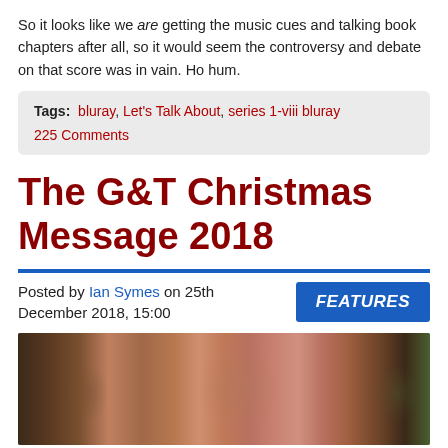So it looks like we are getting the music cues and talking book chapters after all, so it would seem the controversy and debate on that score was in vain. Ho hum.
Tags: bluray, Let's Talk About, series 1-viii bluray
225 Comments
The G&T Christmas Message 2018
Posted by Ian Symes on 25th December 2018, 15:00
[Figure (photo): Close-up photo strip showing faces of multiple people, cropped to show primarily eyes and facial features]